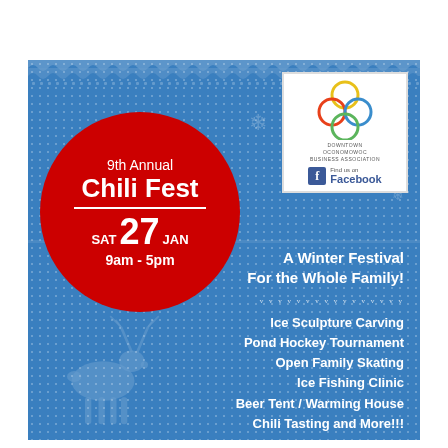[Figure (illustration): Event flyer with blue knitted winter pattern background, red circular badge on left, logo box top right, activity list on right side]
9th Annual Chili Fest
SAT 27 JAN
9am - 5pm
[Figure (logo): Downtown Oconomowoc Business Association logo with overlapping colored circles and Facebook find us link]
A Winter Festival For the Whole Family!
Ice Sculpture Carving
Pond Hockey Tournament
Open Family Skating
Ice Fishing Clinic
Beer Tent / Warming House
Chili Tasting and More!!!